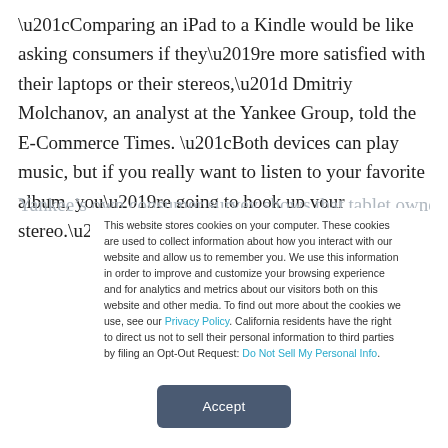“Comparing an iPad to a Kindle would be like asking consumers if they’re more satisfied with their laptops or their stereos,” Dmitriy Molchanov, an analyst at the Yankee Group, told the E-Commerce Times. “Both devices can play music, but if you really want to listen to your favorite album, you’re going to hook up your stereo.”
Yankee’s own consumer survey shows that tablet owners
This website stores cookies on your computer. These cookies are used to collect information about how you interact with our website and allow us to remember you. We use this information in order to improve and customize your browsing experience and for analytics and metrics about our visitors both on this website and other media. To find out more about the cookies we use, see our Privacy Policy. California residents have the right to direct us not to sell their personal information to third parties by filing an Opt-Out Request: Do Not Sell My Personal Info.
Accept